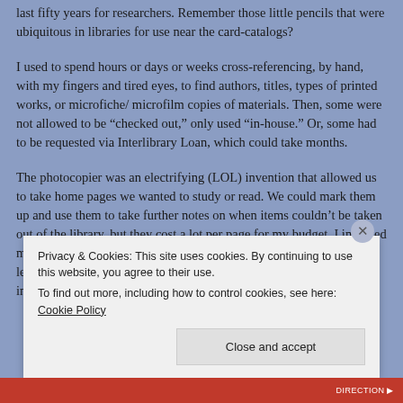last fifty years for researchers. Remember those little pencils that were ubiquitous in libraries for use near the card-catalogs?
I used to spend hours or days or weeks cross-referencing, by hand, with my fingers and tired eyes, to find authors, titles, types of printed works, or microfiche/ microfilm copies of materials. Then, some were not allowed to be “checked out,” only used “in-house.” Or, some had to be requested via Interlibrary Loan, which could take months.
The photocopier was an electrifying (LOL) invention that allowed us to take home pages we wanted to study or read. We could mark them up and use them to take further notes on when items couldn’t be taken out of the library, but they cost a lot per page for my budget. I invented my own shorthand to take copious notes very quickly, a system I learned to use in lecture classes as well. I could quickly crib information from precious materials I couldn’t
Privacy & Cookies: This site uses cookies. By continuing to use this website, you agree to their use.
To find out more, including how to control cookies, see here: Cookie Policy
Close and accept